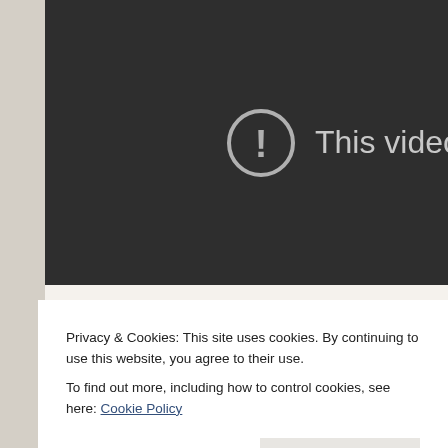[Figure (screenshot): A dark video player showing a private video error. A grey circle with an exclamation mark icon is shown alongside the text 'This video is pri' (cut off). The background is dark grey (#2e2e2e).]
Privacy & Cookies: This site uses cookies. By continuing to use this website, you agree to their use.
To find out more, including how to control cookies, see here: Cookie Policy
Close and accept
camp up in. Each week you will pick up your PAZ and drop it a